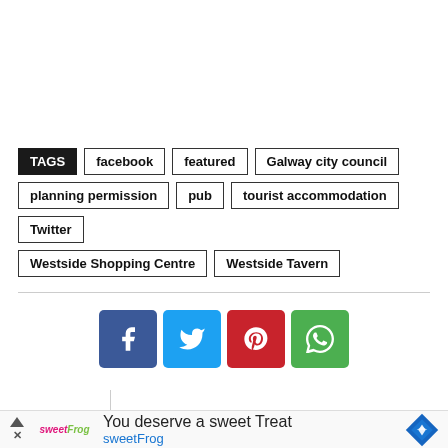TAGS  facebook  featured  Galway city council  planning permission  pub  tourist accommodation  Twitter  Westside Shopping Centre  Westside Tavern
[Figure (other): Social share buttons: Facebook (blue), Twitter (cyan), Pinterest (red), WhatsApp (green)]
[Figure (other): Advertisement banner: sweetFrog logo, text 'You deserve a sweet Treat', 'sweetFrog' link, navigation arrow icon]